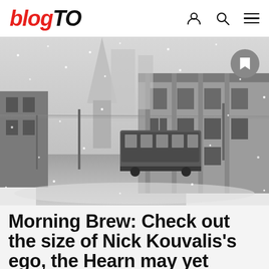blogTO
[Figure (photo): Black and white snowy winter street scene in Toronto with a TTC streetcar on the road, historic stone building on the right, church steeple in the background, heavy snowfall]
Morning Brew: Check out the size of Nick Kouvalis's ego, the Hearn may yet become an arena and other things with...